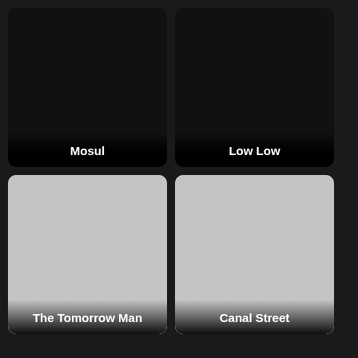[Figure (screenshot): Movie poster placeholder for Mosul - dark card with title label at bottom]
Mosul
[Figure (screenshot): Movie poster placeholder for Low Low - dark card with title label at bottom]
Low Low
[Figure (screenshot): Movie poster placeholder for The Tomorrow Man - grey card with title label at bottom]
The Tomorrow Man
[Figure (screenshot): Movie poster placeholder for Canal Street - grey card with title label at bottom]
Canal Street